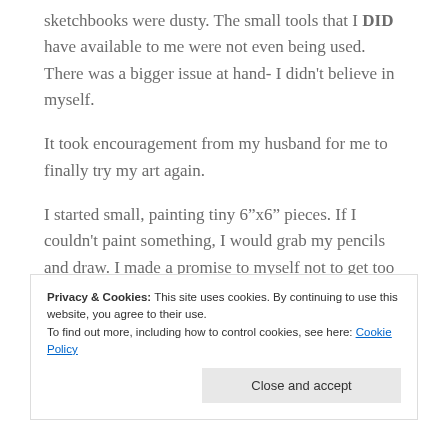sketchbooks were dusty. The small tools that I DID have available to me were not even being used. There was a bigger issue at hand- I didn't believe in myself.
It took encouragement from my husband for me to finally try my art again.
I started small, painting tiny 6"x6" pieces. If I couldn't paint something, I would grab my pencils and draw. I made a promise to myself not to get too wrapped up in WHAT I was doing just THAT I was doing it. Soon enough, I got more comfortable with my tools.
Privacy & Cookies: This site uses cookies. By continuing to use this website, you agree to their use.
To find out more, including how to control cookies, see here: Cookie Policy
Close and accept